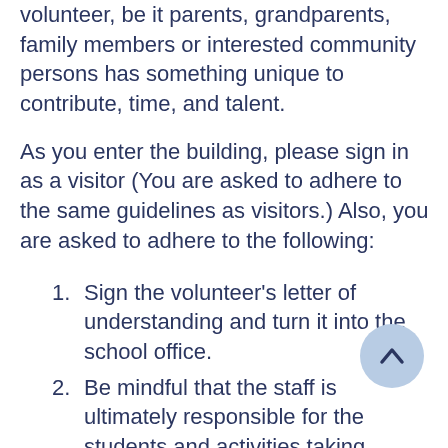volunteer, be it parents, grandparents, family members or interested community persons has something unique to contribute, time, and talent.
As you enter the building, please sign in as a visitor (You are asked to adhere to the same guidelines as visitors.) Also, you are asked to adhere to the following:
Sign the volunteer's letter of understanding and turn it into the school office.
Be mindful that the staff is ultimately responsible for the students and activities taking place.
Unless notified before your